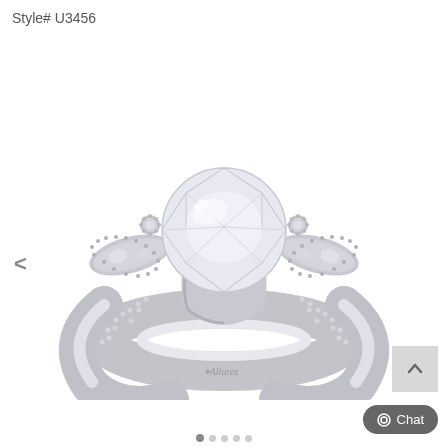Style# U3456
[Figure (photo): A diamond engagement ring with a round brilliant cut center stone set in white gold, featuring floral/butterfly milgrain shoulder design with pavé-set accent diamonds along the band. The Allurez brand name is inscribed on the interior of the band.]
< (navigation arrow)
Chat